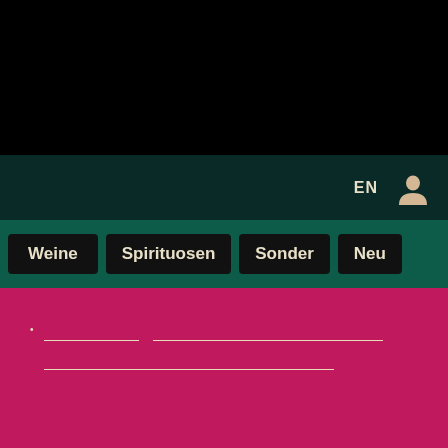[Figure (screenshot): Black top navigation bar area]
EN
Weine  Spirituosen  Sonder  Neu
• ___ ___ / ___ ___ ___
[Figure (screenshot): Dark teal footer bar with angle bracket navigation icons on bottom right]